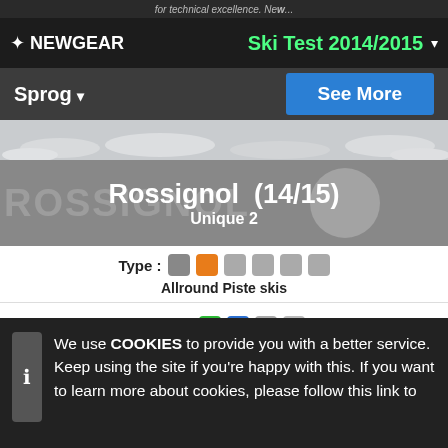for technical excellence. New...
✦ NEWGEAR    Ski Test 2014/2015 ▾
Sprog ▾    See More
[Figure (photo): Snowy ski slope background image strip]
Rossignol  (14/15)
Unique 2
Type :  [grey] [orange] [grey] [grey] [grey] [grey]
Allround Piste skis
Level :  [green] [blue] [grey] [grey]
Overall impression on the pist :
[Figure (bar-chart): Overall impression on the pist]
Overall impression offpist :
[Figure (bar-chart): Overall impression offpist]
We use COOKIES to provide you with a better service. Keep using the site if you're happy with this. If you want to learn more about cookies, please follow this link to